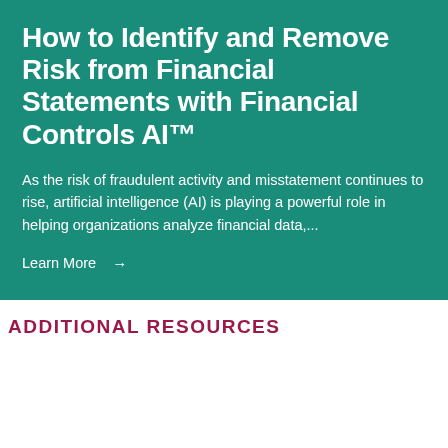How to Identify and Remove Risk from Financial Statements with Financial Controls AI™
As the risk of fraudulent activity and misstatement continues to rise, artificial intelligence (AI) is playing a powerful role in helping organizations analyze financial data,...
Learn More →
ADDITIONAL RESOURCES
Leave a message